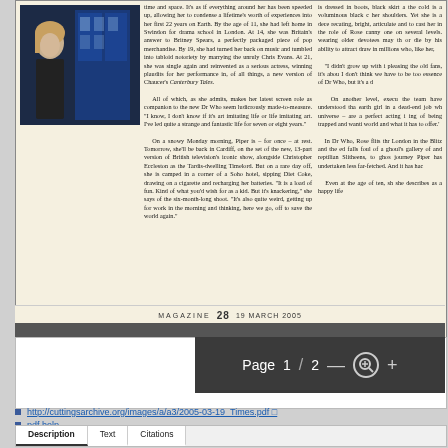[Figure (photo): Photo of a woman (Billie Piper) standing in front of a blue police box (TARDIS), wearing dark clothing, looking upward]
time and space. It's as if everything around her has been speeded up, allowing her to condense a life-time's worth of experiences into her first 22 years on Earth. By the age of 11, she had left home in Swindon for drama school in London. At 14, she was Britain's answer to Britney Spears, a perfectly packaged piece of pop merchandise. By 19, she had turned her back on music and tumbled into tabloid notoriety by marrying the unruly Chris Evans. At 21, she was single again and reinvented as a serious actress, winning plaudits for her performance in, of all things, a new version of Chaucer's Canterbury Tales. All of which, as she admits, makes her latest screen role as companion to the new Dr Who seem ludicrously made-to-measure. "I know, I don't know if it's art imitating life or life imitating art. I've led quite a strange and fantastic life for seven or eight years." On a snowy Monday morning, Piper is – for once – at rest. Tomorrow, she'll be back in Cardiff, on the set of the new, 13-part version of British television's iconic show, alongside Christopher Eccleston as the Tardis-dwelling Timelord. But on a rare day off, she is camped in a corner of a Soho hotel, sipping Diet Coke, drawing on a cigarette and recharging her batteries. "It is a load of fun. Kind of what you'd wish for as a kid. But it's knackering," she says of the six-month-long shoot. "It's also quite weird, getting up for work in the morning and thinking, here we go, off to save the world again."
is dressed in boots, black skirt and the cold is a voluminous black coat her shoulders. Yet she is a decaprecating, bright, articulate and to cast her in the role of Rose canny one on several levels. wearing older devotees may th or die by his ability to attract draw in millions who, like her, "I didn't grow up with pleasing the old fans, it's abou I don't think we have to be too essence of Dr Who, but it's a d On another level, execu the team have understood tha earth girl in a dead-end job wh universe – are a perfect acting ing of being trapped and wanti world and what it has to offer.' In Dr Who, Rose flits thr London in the Blitz and the ed falls foul of a ghoul's gallery of and reptilian Slitheens, to ghos journey Piper has undertaken less far-fetched. And it has ha Even at the age of ten, sh she describes as a happy life
MAGAZINE  28  19 MARCH 2005
<< came from. I've got no tragic tale. My parents are solid, lovely peo-
http://cuttingsarchive.org/images/a/a3/2005-03-19_Times.pdf
pdf help
Description
Text
Citations